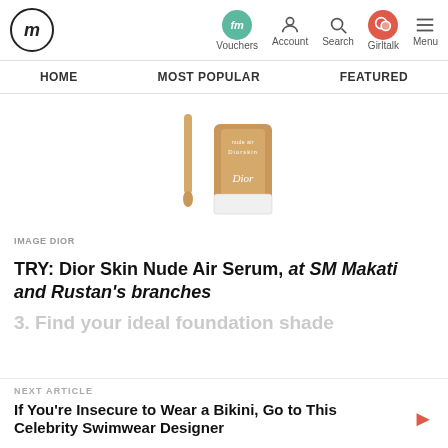fm | Vouchers | Account | Search | Girltalk | Menu
HOME | MOST POPULAR | FEATURED
[Figure (photo): Dior Skin Nude Air Serum product photo showing a bottle with dropper against white background]
IMAGE DIOR
TRY: Dior Skin Nude Air Serum, at SM Makati and Rustan's branches
NEXT ARTICLE
If You're Insecure to Wear a Bikini, Go to This Celebrity Swimwear Designer